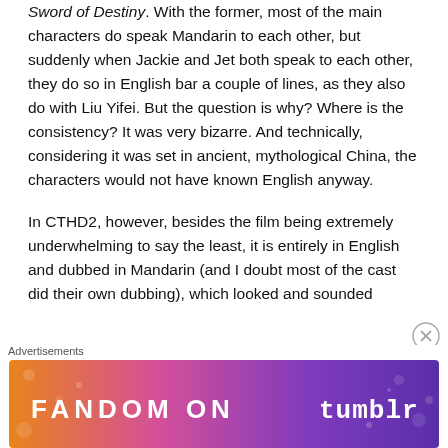Sword of Destiny. With the former, most of the main characters do speak Mandarin to each other, but suddenly when Jackie and Jet both speak to each other, they do so in English bar a couple of lines, as they also do with Liu Yifei. But the question is why? Where is the consistency? It was very bizarre. And technically, considering it was set in ancient, mythological China, the characters would not have known English anyway.
In CTHD2, however, besides the film being extremely underwhelming to say the least, it is entirely in English and dubbed in Mandarin (and I doubt most of the cast did their own dubbing), which looked and sounded
Advertisements
[Figure (other): Fandom on Tumblr advertisement banner with orange, pink, and purple gradient background, music notes and decorative elements, white bold text reading FANDOM ON tumblr]